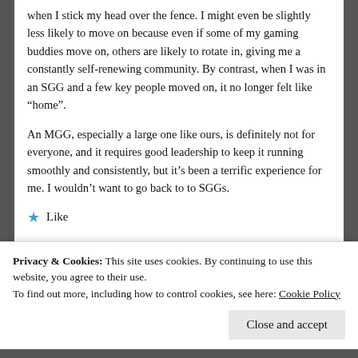when I stick my head over the fence. I might even be slightly less likely to move on because even if some of my gaming buddies move on, others are likely to rotate in, giving me a constantly self-renewing community. By contrast, when I was in an SGG and a few key people moved on, it no longer felt like “home”.
An MGG, especially a large one like ours, is definitely not for everyone, and it requires good leadership to keep it running smoothly and consistently, but it’s been a terrific experience for me. I wouldn’t want to go back to to SGGs.
★ Like
Privacy & Cookies: This site uses cookies. By continuing to use this website, you agree to their use.
To find out more, including how to control cookies, see here: Cookie Policy
Close and accept